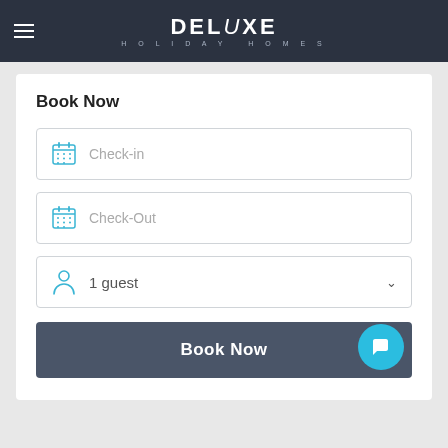[Figure (logo): Deluxe Holiday Homes logo with hamburger menu on dark navy header]
Book Now
[Figure (screenshot): Check-in date input field with calendar icon]
[Figure (screenshot): Check-Out date input field with calendar icon]
[Figure (screenshot): Guest selector dropdown showing 1 guest with chevron]
[Figure (screenshot): Book Now button in dark slate color]